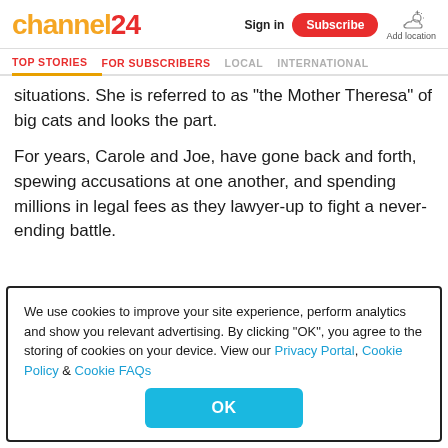channel24 | Sign in | Subscribe | Add location
TOP STORIES | FOR SUBSCRIBERS | LOCAL | INTERNATIONAL
situations. She is referred to as 'the Mother Theresa' of big cats and looks the part.
For years, Carole and Joe, have gone back and forth, spewing accusations at one another, and spending millions in legal fees as they lawyer-up to fight a never-ending battle.
We use cookies to improve your site experience, perform analytics and show you relevant advertising. By clicking "OK", you agree to the storing of cookies on your device. View our Privacy Portal, Cookie Policy & Cookie FAQs
OK